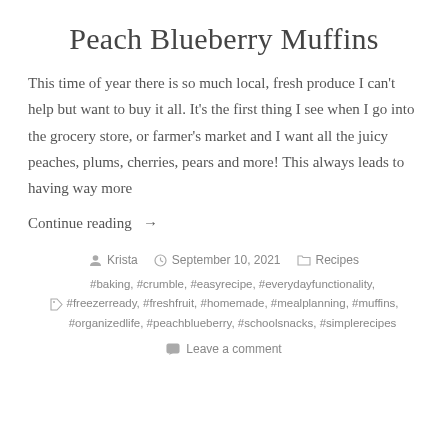Peach Blueberry Muffins
This time of year there is so much local, fresh produce I can't help but want to buy it all. It's the first thing I see when I go into the grocery store, or farmer's market and I want all the juicy peaches, plums, cherries, pears and more! This always leads to having way more
Continue reading →
Krista   September 10, 2021   Recipes
#baking, #crumble, #easyrecipe, #everydayfunctionality, #freezerready, #freshfruit, #homemade, #mealplanning, #muffins, #organizedlife, #peachblueberry, #schoolsnacks, #simplerecipes
Leave a comment